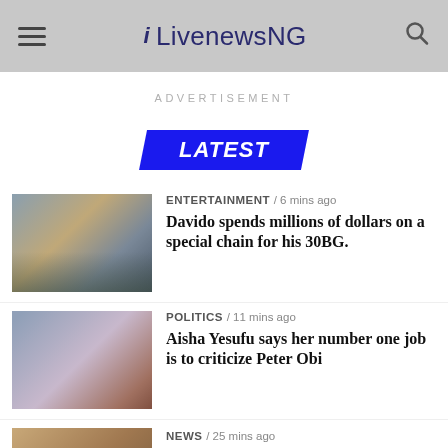LivenewsNG
ADVERTISEMENT
LATEST
ENTERTAINMENT / 6 mins ago — Davido spends millions of dollars on a special chain for his 30BG.
POLITICS / 11 mins ago — Aisha Yesufu says her number one job is to criticize Peter Obi
NEWS / 25 mins ago